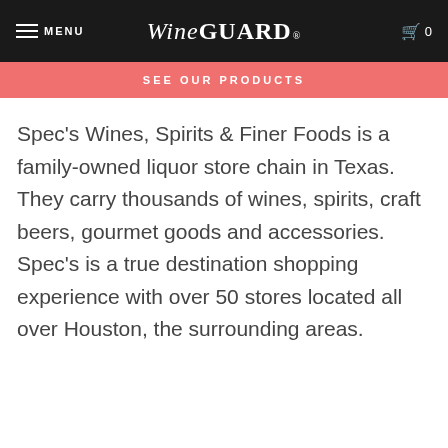MENU | WineGUARD® | 0
SEE OUR PRODUCTS
Spec's Wines, Spirits & Finer Foods is a family-owned liquor store chain in Texas. They carry thousands of wines, spirits, craft beers, gourmet goods and accessories. Spec's is a true destination shopping experience with over 50 stores located all over Houston, the surrounding areas.